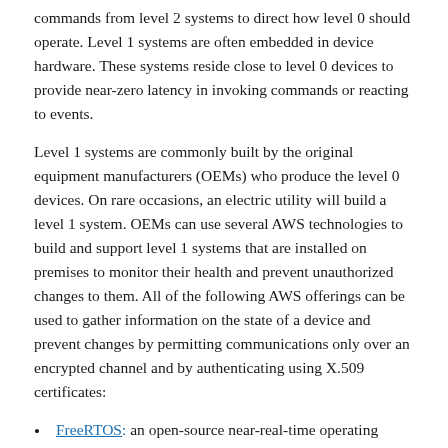commands from level 2 systems to direct how level 0 should operate. Level 1 systems are often embedded in device hardware. These systems reside close to level 0 devices to provide near-zero latency in invoking commands or reacting to events.
Level 1 systems are commonly built by the original equipment manufacturers (OEMs) who produce the level 0 devices. On rare occasions, an electric utility will build a level 1 system. OEMs can use several AWS technologies to build and support level 1 systems that are installed on premises to monitor their health and prevent unauthorized changes to them. All of the following AWS offerings can be used to gather information on the state of a device and prevent changes by permitting communications only over an encrypted channel and by authenticating using X.509 certificates:
FreeRTOS: an open-source near-real-time operating system for microcontrollers
AWS IoT Greengrass: an open-source edge runtime and cloud service for building, deploying, and managing device software
AWS IoT services like AWS IoT Device Defender: a fully